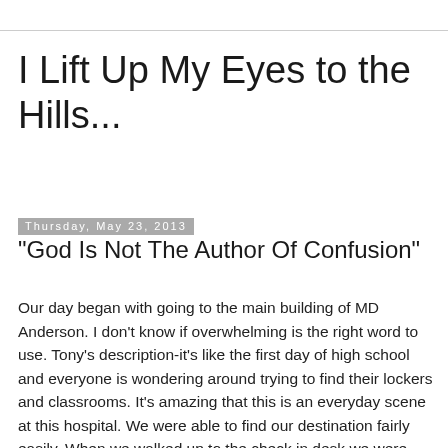I Lift Up My Eyes to the Hills...
Thursday, May 23, 2013
"God Is Not The Author Of Confusion"
Our day began with going to the main building of MD Anderson.  I don't know if overwhelming is the right word to use.  Tony's description-it's like the first day of high school and everyone is wondering around trying to find their lockers and classrooms.  It's amazing that this is an everyday scene at this hospital.  We were able to find our destination fairly easily.  When we walked up to the check in desk we were greeted by a very friendly guy named Eric Colemon (same name as our son-in-law).  He told me I looked familiar and said Happy Birthday!.  He knew my birthday is on